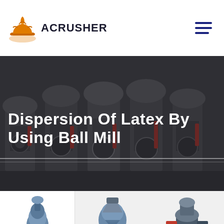[Figure (logo): Acrusher logo: orange hard-hat icon with company name ACRUSHER in bold]
[Figure (photo): Industrial ball mill machinery on factory floor, multiple large grinding machines in a row]
Dispersion Of Latex By Using Ball Mill
[Figure (photo): Hanging Roller Mill machine product image]
Hanging Roller Mill
[Figure (photo): Vertical Mill machine product image]
Vertical Mill
[Figure (photo): Ultrafine Mill machine product image]
Ultrafine Mill